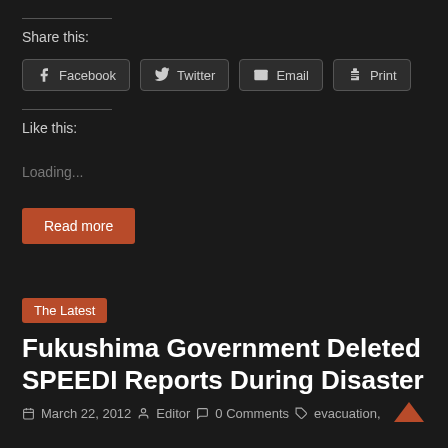Share this:
Facebook  Twitter  Email  Print
Like this:
Loading...
Read more
The Latest
Fukushima Government Deleted SPEEDI Reports During Disaster
March 22, 2012  Editor  0 Comments  evacuation,